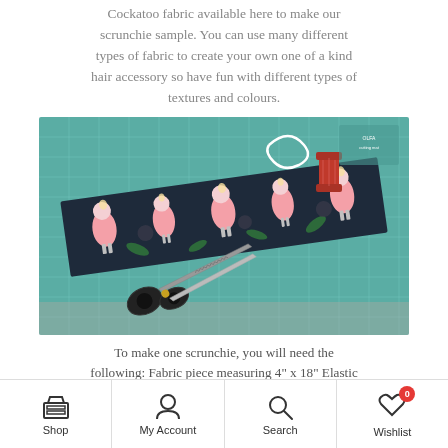Cockatoo fabric available here to make our scrunchie sample. You can use many different types of fabric to create your own one of a kind hair accessory so have fun with different types of textures and colours.
[Figure (photo): Photo of a teal cutting mat with a strip of dark fabric printed with cockatoo birds, a white elastic/cord loop, a red thread spool, and a pair of scissors lying on the mat.]
To make one scrunchie, you will need the following: Fabric piece measuring 4" x 18" Elastic
Shop  My Account  Search  Wishlist